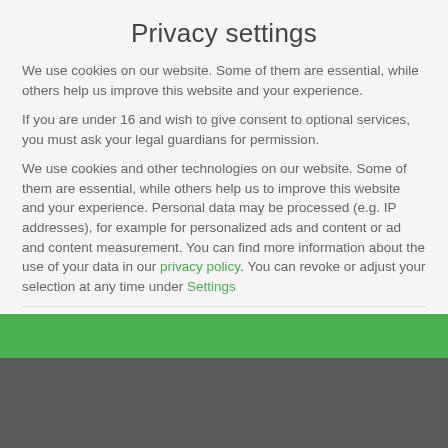Privacy settings
We use cookies on our website. Some of them are essential, while others help us improve this website and your experience.
If you are under 16 and wish to give consent to optional services, you must ask your legal guardians for permission.
We use cookies and other technologies on our website. Some of them are essential, while others help us to improve this website and your experience. Personal data may be processed (e.g. IP addresses), for example for personalized ads and content or ad and content measurement. You can find more information about the use of your data in our privacy policy. You can revoke or adjust your selection at any time under Settings.
Essenziell (checked)
Marketing (unchecked)
Externe Medien (unchecked)